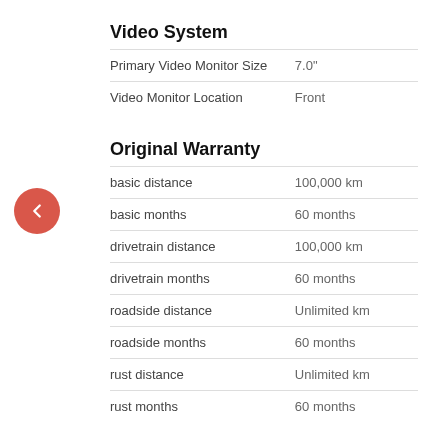Video System
| Feature | Value |
| --- | --- |
| Primary Video Monitor Size | 7.0" |
| Video Monitor Location | Front |
Original Warranty
| Feature | Value |
| --- | --- |
| basic distance | 100,000 km |
| basic months | 60 months |
| drivetrain distance | 100,000 km |
| drivetrain months | 60 months |
| roadside distance | Unlimited km |
| roadside months | 60 months |
| rust distance | Unlimited km |
| rust months | 60 months |
Weights and Capacities
| Feature | Value |
| --- | --- |
| Cargo capacity, all seats in place | 877 L |
| Cargo capacity, rear seat down or removed | 1,754 L |